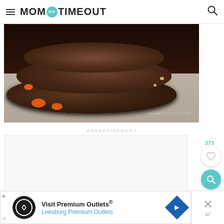Mom On Timeout
[Figure (photo): Stack of dark chocolate cookies with orange candy pieces (Reese's Pieces) and peanut butter chips on a white cloth surface. Watermark reads insidebrucrewlife.com]
ADVERTISEMENT
[Figure (other): Advertisement placeholder area]
373
[Figure (other): Heart/like button (white circle) and search button (teal circle)]
[Figure (other): Bottom advertisement banner: Visit Premium Outlets® Leesburg Premium Outlets with logo and navigation icon]